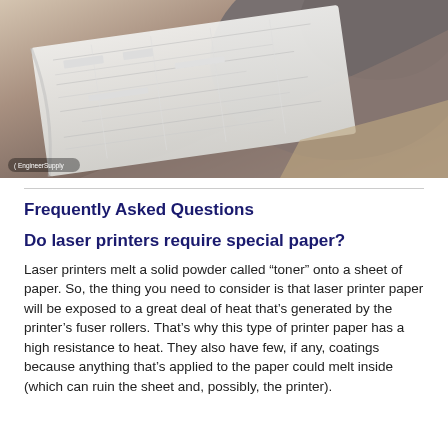[Figure (photo): A person holding and examining large rolled blueprint/engineering drawings. The person is wearing a grey top. A watermark reading 'EngineerSupply' appears in the bottom left corner of the image.]
Frequently Asked Questions
Do laser printers require special paper?
Laser printers melt a solid powder called “toner” onto a sheet of paper. So, the thing you need to consider is that laser printer paper will be exposed to a great deal of heat that’s generated by the printer’s fuser rollers. That’s why this type of printer paper has a high resistance to heat. They also have few, if any, coatings because anything that’s applied to the paper could melt inside (which can ruin the sheet and, possibly, the printer).